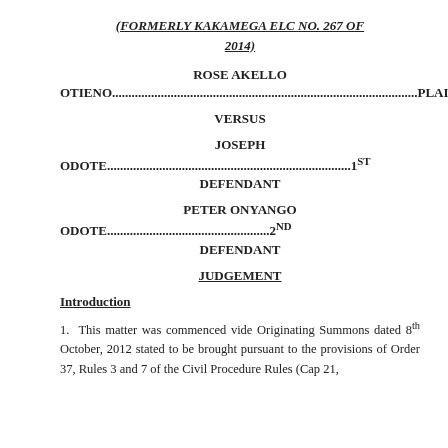(FORMERLY KAKAMEGA ELC NO. 267 OF 2014)
ROSE AKELLO OTIENO....PLAINTIFF
VERSUS
JOSEPH ODOTE....1ST DEFENDANT
PETER ONYANGO ODOTE....2ND DEFENDANT
JUDGEMENT
Introduction
1. This matter was commenced vide Originating Summons dated 8th October, 2012 stated to be brought pursuant to the provisions of Order 37, Rules 3 and 7 of the Civil Procedure Rules (Cap 21,